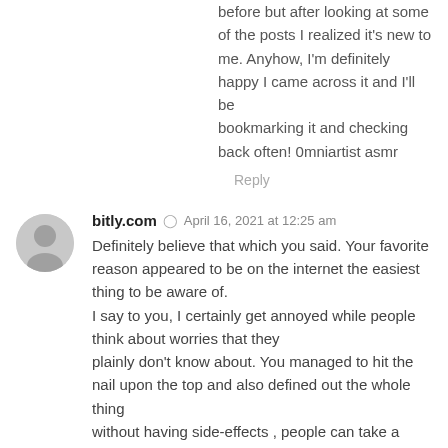before but after looking at some of the posts I realized it's new to me. Anyhow, I'm definitely happy I came across it and I'll be bookmarking it and checking back often! 0mniartist asmr
Reply
bitly.com  April 16, 2021 at 12:25 am
Definitely believe that which you said. Your favorite reason appeared to be on the internet the easiest thing to be aware of.
I say to you, I certainly get annoyed while people think about worries that they
plainly don't know about. You managed to hit the nail upon the top and also defined out the whole thing
without having side-effects , people can take a signal. Will probably be back to get more.
Thanks asmr 0mniartist
Reply
tinyurl.com  April 16, 2021 at 2:29 am